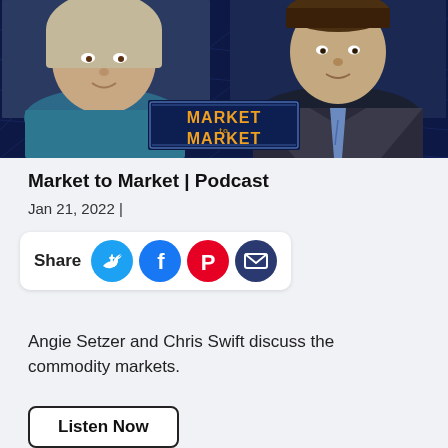[Figure (screenshot): Market to Market podcast thumbnail showing two people (a woman on the left and a man in a suit on the right) with the 'Market to Market' logo banner in the center against a dark blue grid background.]
Market to Market | Podcast
Jan 21, 2022  |
Share
Angie Setzer and Chris Swift discuss the commodity markets.
Listen Now